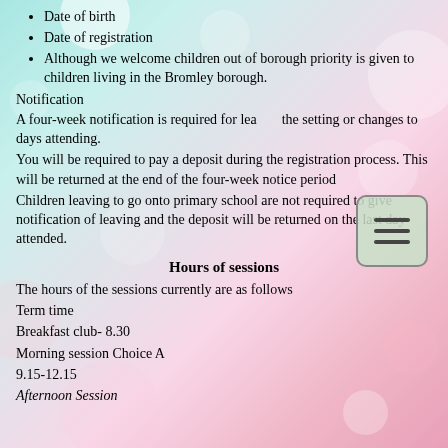Date of birth
Date of registration
Although we welcome children out of borough priority is given to children living in the Bromley borough.
Notification
A four-week notification is required for leaving the setting or changes to days attending.
You will be required to pay a deposit during the registration process. This will be returned at the end of the four-week notice period
Children leaving to go onto primary school are not required to give notification of leaving and the deposit will be returned on the last day attended.
Hours of sessions
The hours of the sessions currently are as follows
Term time
Breakfast club- 8.30
Morning session Choice A
9.15-12.15
Afternoon Session